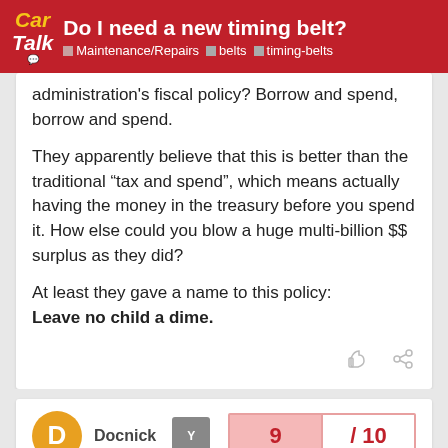Do I need a new timing belt? — Maintenance/Repairs · belts · timing-belts
administration's fiscal policy? Borrow and spend, borrow and spend.
They apparently believe that this is better than the traditional “tax and spend”, which means actually having the money in the treasury before you spend it. How else could you blow a huge multi-billion $$ surplus as they did?
At least they gave a name to this policy:
Leave no child a dime.
Docnick
9 / 10